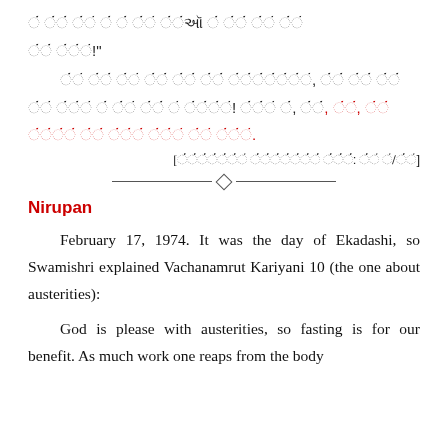[Gujarati text] (continuing from previous page)
[Gujarati text block with red characters]
[Citation in Gujarati]
Nirupan
February 17, 1974. It was the day of Ekadashi, so Swamishri explained Vachanamrut Kariyani 10 (the one about austerities):
God is please with austerities, so fasting is for our benefit. As much work one reaps from the body